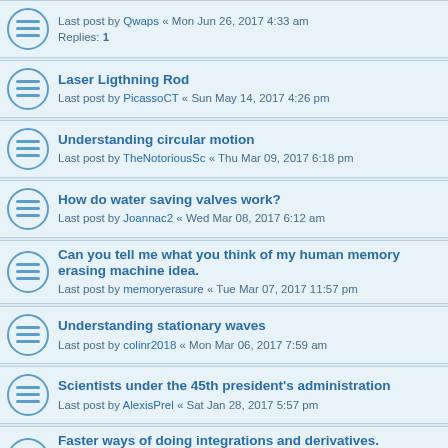Last post by Qwaps « Mon Jun 26, 2017 4:33 am
Replies: 1
Laser Ligthning Rod
Last post by PicassoCT « Sun May 14, 2017 4:26 pm
Understanding circular motion
Last post by TheNotoriousSc « Thu Mar 09, 2017 6:18 pm
How do water saving valves work?
Last post by Joannac2 « Wed Mar 08, 2017 6:12 am
Can you tell me what you think of my human memory erasing machine idea.
Last post by memoryerasure « Tue Mar 07, 2017 11:57 pm
Understanding stationary waves
Last post by colinr2018 « Mon Mar 06, 2017 7:59 am
Scientists under the 45th president's administration
Last post by AlexisPrel « Sat Jan 28, 2017 5:57 pm
Faster ways of doing integrations and derivatives.
Last post by GMJackson « Thu Oct 20, 2016 1:45 pm
Replies: 1
a theory on dark matter
Last post by GMJackson « Thu Oct 20, 2016 1:31 pm
Replies: 1
anyone regret choosing physics as their careers?
Last post by MostlyAnonymous « Fri May 27, 2016 1:04 am
Replies: 6